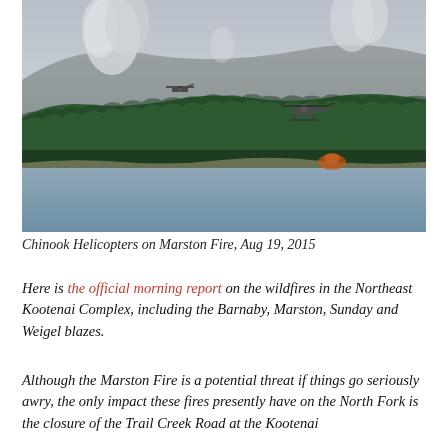[Figure (photo): Aerial photo of wildfire on forested hillside beside a lake, with smoke rising above the treeline and two Chinook helicopters visible in the sky.]
Chinook Helicopters on Marston Fire, Aug 19, 2015
Here is the official morning report on the wildfires in the Northeast Kootenai Complex, including the Barnaby, Marston, Sunday and Weigel blazes.
Although the Marston Fire is a potential threat if things go seriously awry, the only impact these fires presently have on the North Fork is the closure of the Trail Creek Road at the Kootenai